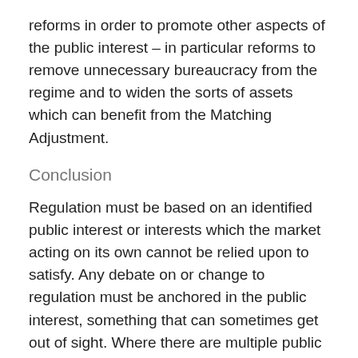reforms in order to promote other aspects of the public interest – in particular reforms to remove unnecessary bureaucracy from the regime and to widen the sorts of assets which can benefit from the Matching Adjustment.
Conclusion
Regulation must be based on an identified public interest or interests which the market acting on its own cannot be relied upon to satisfy. Any debate on or change to regulation must be anchored in the public interest, something that can sometimes get out of sight. Where there are multiple public interests involved it is important to identify and then respect the hierarchy of such interests. In other words, some of them are most important. This is true for